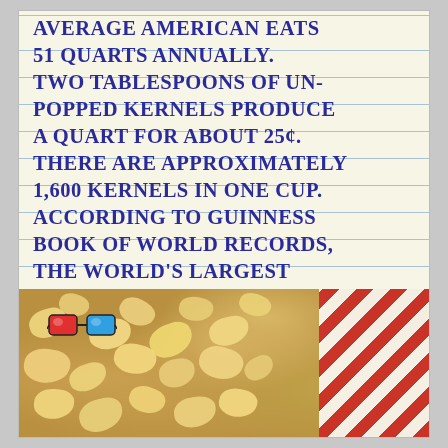AVERAGE AMERICAN EATS 51 QUARTS ANNUALLY. TWO TABLESPOONS OF UN-POPPED KERNELS PRODUCE A QUART FOR ABOUT 25¢. THERE ARE APPROXIMATELY 1,600 KERNELS IN ONE CUP. ACCORDING TO GUINNESS BOOK OF WORLD RECORDS, THE WORLD'S LARGEST POPCORN BALL WEIGHED 5,000 POUNDS! *POP*
[Figure (photo): Photo of popcorn in a bowl with red and white striped popcorn box and 3D glasses visible]